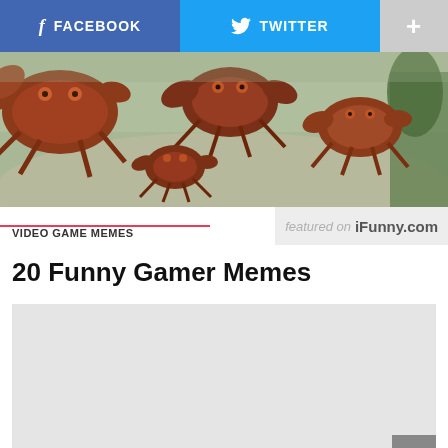FACEBOOK   TWITTER   +
[Figure (illustration): Banner image showing fantasy/game-style illustrated crabs or lobster-like creatures in reddish-brown tones against a muted green-grey background]
VIDEO GAME MEMES
featured on iFunny.com
20 Funny Gamer Memes
[Figure (other): Light grey placeholder content area (advertisement or image placeholder)]